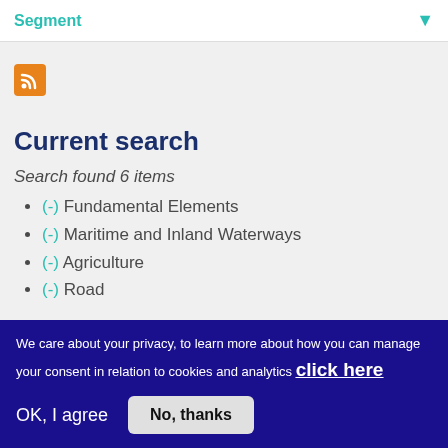Segment
[Figure (other): RSS feed icon, orange square with white RSS symbol]
Current search
Search found 6 items
(-) Fundamental Elements
(-) Maritime and Inland Waterways
(-) Agriculture
(-) Road
We care about your privacy, to learn more about how you can manage your consent in relation to cookies and analytics click here
OK, I agree
No, thanks